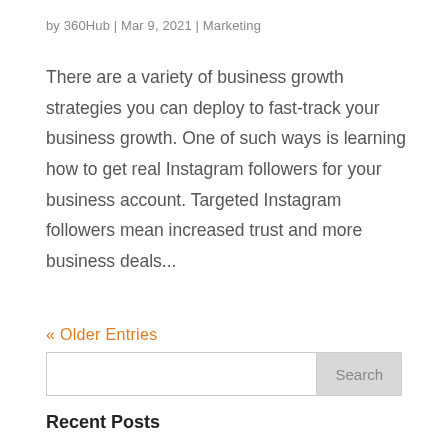by 360Hub | Mar 9, 2021 | Marketing
There are a variety of business growth strategies you can deploy to fast-track your business growth. One of such ways is learning how to get real Instagram followers for your business account. Targeted Instagram followers mean increased trust and more business deals...
« Older Entries
Search
Recent Posts